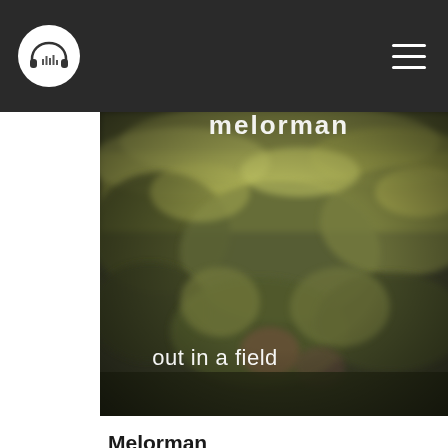Melorman - Out In A Field (music app header)
[Figure (photo): Album art for 'Out In A Field' by Melorman — a blurred outdoor photograph of greenish-yellow foliage/leaves with dark tones, overlaid with white text reading 'melorman' at top and 'out in a field' at bottom-left]
Melorman
Out In A Field